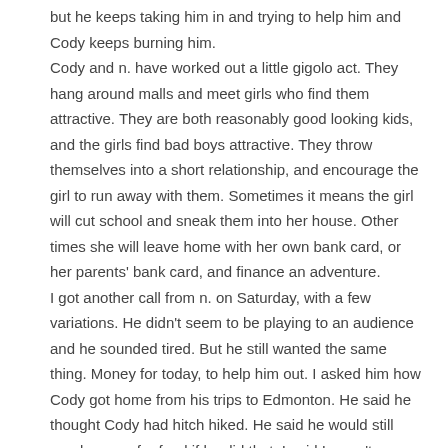but he keeps taking him in and trying to help him and Cody keeps burning him.
Cody and n. have worked out a little gigolo act. They hang around malls and meet girls who find them attractive. They are both reasonably good looking kids, and the girls find bad boys attractive. They throw themselves into a short relationship, and encourage the girl to run away with them. Sometimes it means the girl will cut school and sneak them into her house. Other times she will leave home with her own bank card, or her parents' bank card, and finance an adventure.
I got another call from n. on Saturday, with a few variations. He didn't seem to be playing to an audience and he sounded tired. But he still wanted the same thing. Money for today, to help him out. I asked him how Cody got home from his trips to Edmonton. He said he thought Cody had hitch hiked. He said he would still need money for food if he did that. I said I wasn't suggesting that he should hitch hike or promising him to send money if he promised to come back to Winnipeg. I said if he needed help he would find it.